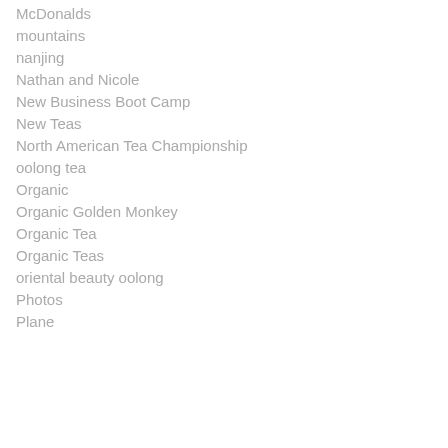McDonalds
mountains
nanjing
Nathan and Nicole
New Business Boot Camp
New Teas
North American Tea Championship
oolong tea
Organic
Organic Golden Monkey
Organic Tea
Organic Teas
oriental beauty oolong
Photos
Plane